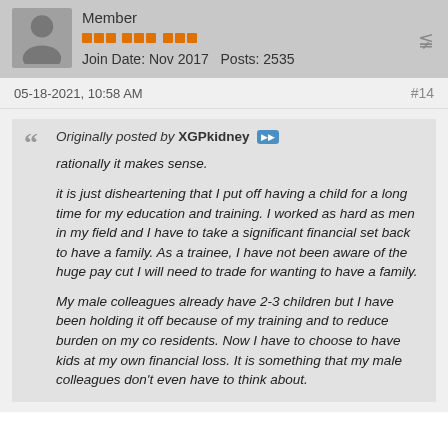Member | Join Date: Nov 2017  Posts: 2535
05-18-2021, 10:58 AM  #14
Originally posted by XGPkidney

rationally it makes sense.

it is just disheartening that I put off having a child for a long time for my education and training. I worked as hard as men in my field and I have to take a significant financial set back to have a family. As a trainee, I have not been aware of the huge pay cut I will need to trade for wanting to have a family.

My male colleagues already have 2-3 children but I have been holding it off because of my training and to reduce burden on my co residents. Now I have to choose to have kids at my own financial loss. It is something that my male colleagues don't even have to think about.